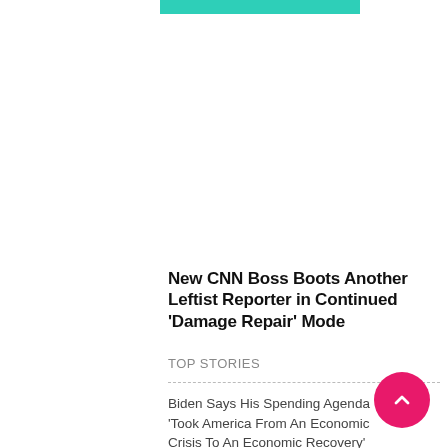[Figure (other): Teal/green decorative bar at top of page]
New CNN Boss Boots Another Leftist Reporter in Continued ‘Damage Repair’ Mode
TOP STORIES
Biden Says His Spending Agenda ‘Took America From An Economic Crisis To An Economic Recovery’ Biden Says His Spending Agenda ‘Took America From An Economic Crisis To An Economic Recovery’Former